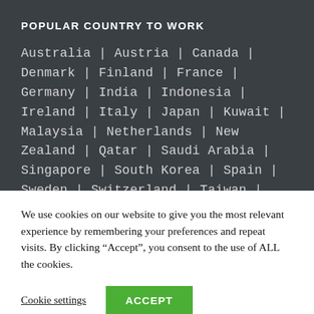POPULAR COUNTRY TO WORK
Australia | Austria | Canada | Denmark | Finland | France | Germany | India | Indonesia | Ireland | Italy | Japan | Kuwait | Malaysia | Netherlands | New Zealand | Qatar | Saudi Arabia | Singapore | South Korea | Spain | Sweden | Switzerland | Taiwan | Turkey | United Kingdom | United...
We use cookies on our website to give you the most relevant experience by remembering your preferences and repeat visits. By clicking “Accept”, you consent to the use of ALL the cookies.
Cookie settings   ACCEPT